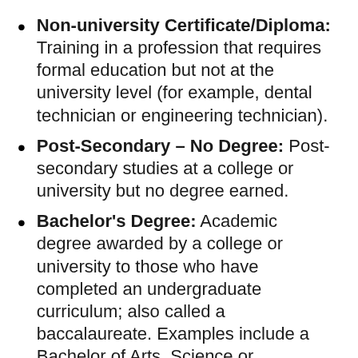Non-university Certificate/Diploma: Training in a profession that requires formal education but not at the university level (for example, dental technician or engineering technician).
Post-Secondary – No Degree: Post-secondary studies at a college or university but no degree earned.
Bachelor's Degree: Academic degree awarded by a college or university to those who have completed an undergraduate curriculum; also called a baccalaureate. Examples include a Bachelor of Arts, Science or Education.
Post Graduate – No Degree: Post-graduate studies at a college or